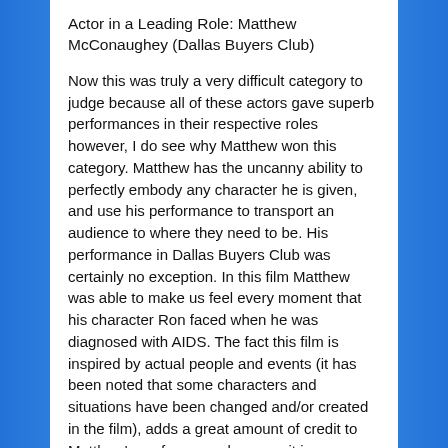Actor in a Leading Role: Matthew McConaughey (Dallas Buyers Club)
Now this was truly a very difficult category to judge because all of these actors gave superb performances in their respective roles however, I do see why Matthew won this category. Matthew has the uncanny ability to perfectly embody any character he is given, and use his performance to transport an audience to where they need to be. His performance in Dallas Buyers Club was certainly no exception. In this film Matthew was able to make us feel every moment that his character Ron faced when he was diagnosed with AIDS. The fact this film is inspired by actual people and events (it has been noted that some characters and situations have been changed and/or created in the film), adds a great amount of credit to Matthew's performance because it is very difficult to accurately translate a person's life in